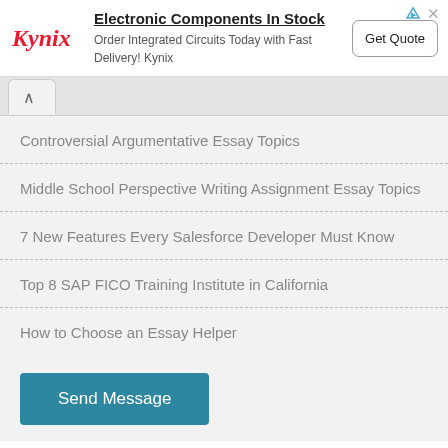[Figure (screenshot): Kynix advertisement banner: logo, headline 'Electronic Components In Stock', subtext 'Order Integrated Circuits Today with Fast Delivery! Kynix', and a 'Get Quote' button.]
Controversial Argumentative Essay Topics
Middle School Perspective Writing Assignment Essay Topics
7 New Features Every Salesforce Developer Must Know
Top 8 SAP FICO Training Institute in California
How to Choose an Essay Helper
Send Message